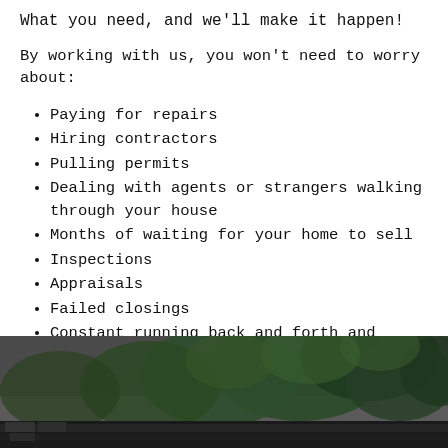What you need, and we'll make it happen!
By working with us, you won't need to worry about:
Paying for repairs
Hiring contractors
Pulling permits
Dealing with agents or strangers walking through your house
Months of waiting for your home to sell
Inspections
Appraisals
Failed closings
Constant running back and forth and hundreds of hours invested
[Figure (photo): Dark outdoor photo showing trees with green foliage against a grey sky, with a brick or stone structure visible at the bottom left.]